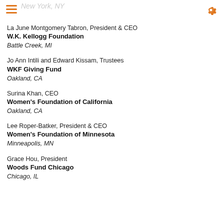New York, NY
La June Montgomery Tabron, President & CEO
W.K. Kellogg Foundation
Battle Creek, MI
Jo Ann Intili and Edward Kissam, Trustees
WKF Giving Fund
Oakland, CA
Surina Khan, CEO
Women's Foundation of California
Oakland, CA
Lee Roper-Batker, President & CEO
Women's Foundation of Minnesota
Minneapolis, MN
Grace Hou, President
Woods Fund Chicago
Chicago, IL